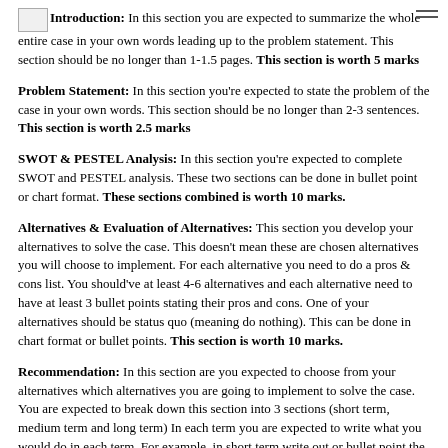Introduction: In this section you are expected to summarize the whole entire case in your own words leading up to the problem statement. This section should be no longer than 1-1.5 pages. This section is worth 5 marks
Problem Statement: In this section you're expected to state the problem of the case in your own words. This section should be no longer than 2-3 sentences. This section is worth 2.5 marks
SWOT & PESTEL Analysis: In this section you're expected to complete SWOT and PESTEL analysis. These two sections can be done in bullet point or chart format. These sections combined is worth 10 marks.
Alternatives & Evaluation of Alternatives: This section you develop your alternatives to solve the case. This doesn't mean these are chosen alternatives you will choose to implement. For each alternative you need to do a pros & cons list. You should've at least 4-6 alternatives and each alternative need to have at least 3 bullet points stating their pros and cons. One of your alternatives should be status quo (meaning do nothing). This can be done in chart format or bullet points. This section is worth 10 marks.
Recommendation: In this section are you expected to choose from your alternatives which alternatives you are going to implement to solve the case. You are expected to break down this section into 3 sections (short term, medium term and long term) In each term you are expected to write what you would do in each term. For example, in short term write out or bullet point the ideas you